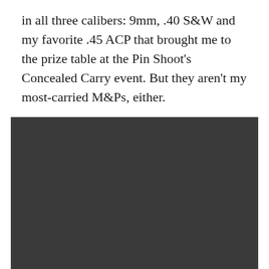in all three calibers: 9mm, .40 S&W and my favorite .45 ACP that brought me to the prize table at the Pin Shoot's Concealed Carry event. But they aren't my most-carried M&Ps, either.
[Figure (photo): A dark, mostly black/very dark gray photograph occupying the lower portion of the page. The image content is not discernible due to very low exposure or darkness.]